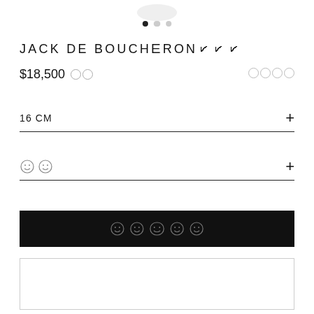[Figure (photo): Partial product image of a bracelet/ring at top of page]
JACK DE BOUCHERON
$18,500
16 CM
[emoji icons row]
[Add to cart / action button - black bar with icons]
[outline box at bottom]